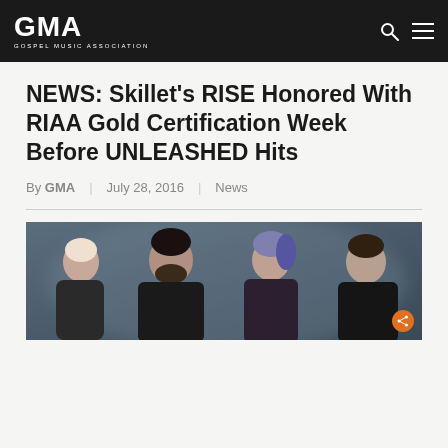GMA GOSPEL MUSIC ASSOCIATION
NEWS: Skillet's RISE Honored With RIAA Gold Certification Week Before UNLEASHED Hits
By GMA | July 28, 2016 | News
[Figure (photo): Photo of the band Skillet — four members posed against a smoky blue background. Left: woman with short blonde hair. Center-left: bearded man in leather jacket. Center-right: woman with blue-tipped hair. Right: man in dark shirt.]